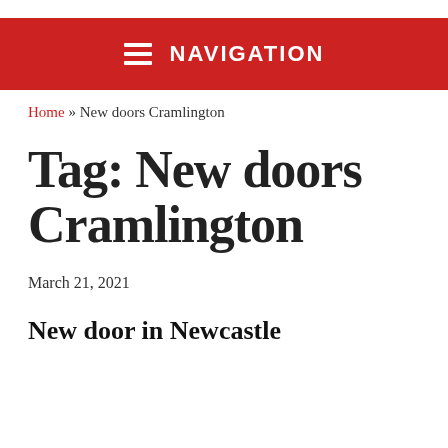NAVIGATION
Home » New doors Cramlington
Tag: New doors Cramlington
March 21, 2021
New door in Newcastle